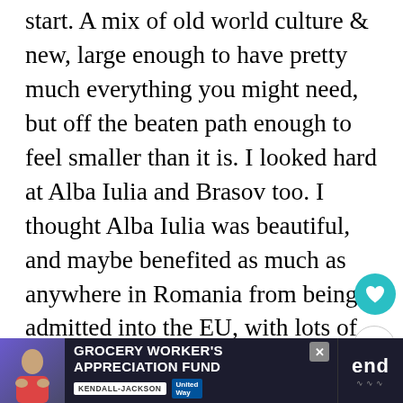start. A mix of old world culture & new, large enough to have pretty much everything you might need, but off the beaten path enough to feel smaller than it is. I looked hard at Alba Iulia and Brasov too. I thought Alba Iulia was beautiful, and maybe benefited as much as anywhere in Romania from being admitted into the EU, with lots of renovation and just giving the city a facelift without hurting it's charm. At least initially, I feel I may need a bigger city, with more
[Figure (other): Advertisement banner: Grocery Worker's Appreciation Fund with Kendall Jackson and United Way logos, person image on left, close button on right, end badge bottom right]